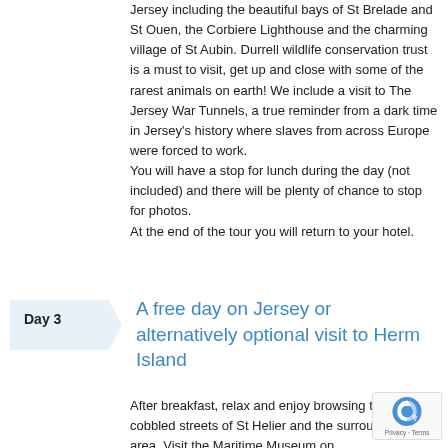Jersey including the beautiful bays of St Brelade and St Ouen, the Corbiere Lighthouse and the charming village of St Aubin. Durrell wildlife conservation trust is a must to visit, get up and close with some of the rarest animals on earth! We include a visit to The Jersey War Tunnels, a true reminder from a dark time in Jersey's history where slaves from across Europe were forced to work.
You will have a stop for lunch during the day (not included) and there will be plenty of chance to stop for photos.
At the end of the tour you will return to your hotel.
Day 3
A free day on Jersey or alternatively optional visit to Herm Island
After breakfast, relax and enjoy browsing the many cobbled streets of St Helier and the surrounding area. Visit the Maritime Museum on...